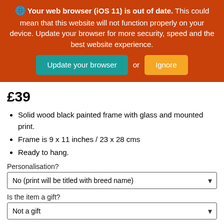[Figure (screenshot): Browser out-of-date warning banner with orange background. Text reads: globe icon 'Your web browser (iOS 11) is out of date.' This could mean that this website will not function properly on your device. Update your browser for more security, speed and the best website experience. Two buttons: 'Update your browser' (teal) and 'Ignore' (orange/yellow), with 'or' between them.]
£39
Solid wood black painted frame with glass and mounted print.
Frame is 9 x 11 inches / 23 x 28 cms
Ready to hang.
Personalisation?
No (print will be titled with breed name)
Is the item a gift?
Not a gift
PERSONALISATION: This is written in pencil under the image. If required, enter your personalized message here (up to 5-6 words)